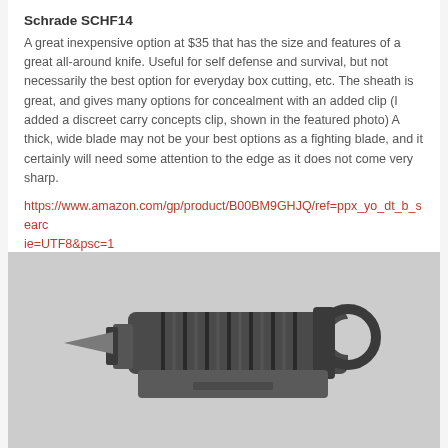Schrade SCHF14
A great inexpensive option at $35 that has the size and features of a great all-around knife. Useful for self defense and survival, but not necessarily the best option for everyday box cutting, etc. The sheath is great, and gives many options for concealment with an added clip (I added a discreet carry concepts clip, shown in the featured photo) A thick, wide blade may not be your best options as a fighting blade, and it certainly will need some attention to the edge as it does not come very sharp.
https://www.amazon.com/gp/product/B00BM9GHJQ/ref=ppx_yo_dt_b_search_asin_title?ie=UTF8&psc=1
[Figure (photo): Close-up photograph of a dark/black fixed blade knife handle wrapped with paracord, showing a finger ring guard and sheath clip, in black and white or desaturated tones.]